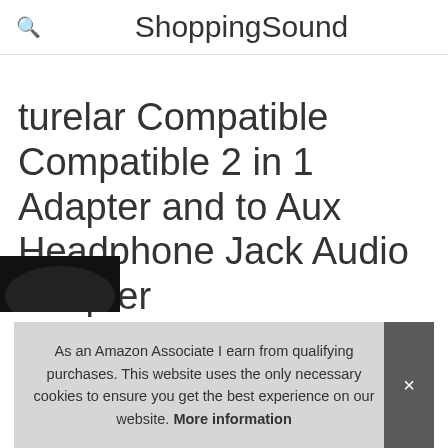ShoppingSound
turelar Compatible Compatible 2 in 1 Adapter and to Aux Headphone Jack Audio Adapter
As an Amazon Associate I earn from qualifying purchases.
As an Amazon Associate I earn from qualifying purchases. This website uses the only necessary cookies to ensure you get the best experience on our website. More information
[Figure (photo): Partial product image at the bottom of the page, showing a dark-colored audio adapter accessory]